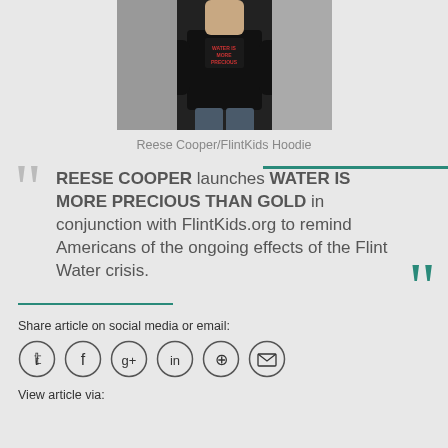[Figure (photo): Person wearing a dark hoodie with text on it, standing against a light background]
Reese Cooper/FlintKids Hoodie
REESE COOPER launches WATER IS MORE PRECIOUS THAN GOLD in conjunction with FlintKids.org to remind Americans of the ongoing effects of the Flint Water crisis.
Share article on social media or email:
View article via: